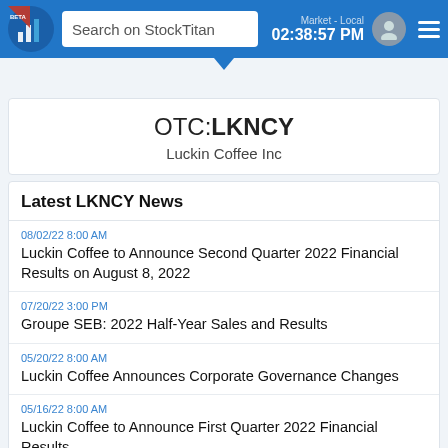Search on StockTitan | Market - Local 02:38:57 PM
OTC:LKNCY
Luckin Coffee Inc
Latest LKNCY News
08/02/22 8:00 AM
Luckin Coffee to Announce Second Quarter 2022 Financial Results on August 8, 2022
07/20/22 3:00 PM
Groupe SEB: 2022 Half-Year Sales and Results
05/20/22 8:00 AM
Luckin Coffee Announces Corporate Governance Changes
05/16/22 8:00 AM
Luckin Coffee to Announce First Quarter 2022 Financial Results on May 24, 2022
04/28/22 11:45 AM